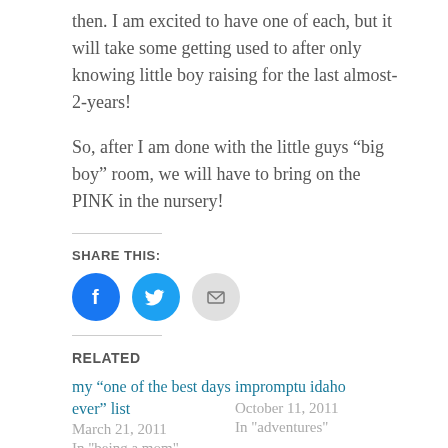then. I am excited to have one of each, but it will take some getting used to after only knowing little boy raising for the last almost-2-years!
So, after I am done with the little guys “big boy” room, we will have to bring on the PINK in the nursery!
SHARE THIS:
[Figure (other): Social share icons: Facebook (blue circle with F), Twitter (blue circle with bird), Email (gray circle with envelope)]
RELATED
my “one of the best days ever” list
March 21, 2011
In "being a mom"
impromptu idaho
October 11, 2011
In "adventures"
Lost in Transition
May 27, 2009